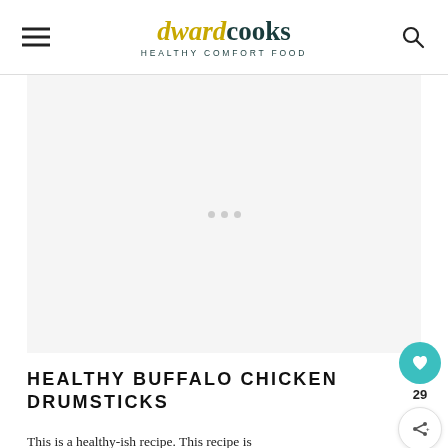dwardcooks HEALTHY COMFORT FOOD
[Figure (other): Advertisement placeholder area with three small dots centered]
HEALTHY BUFFALO CHICKEN DRUMSTICKS
This is a healthy-ish recipe. This recipe is